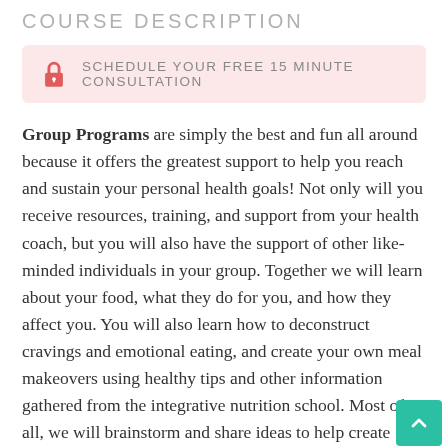COURSE DESCRIPTION
SCHEDULE YOUR FREE 15 MINUTE CONSULTATION
Group Programs are simply the best and fun all around because it offers the greatest support to help you reach and sustain your personal health goals! Not only will you receive resources, training, and support from your health coach, but you will also have the support of other like-minded individuals in your group. Together we will learn about your food, what they do for you, and how they affect you. You will also learn how to deconstruct cravings and emotional eating, and create your own meal makeovers using healthy tips and other information gathered from the integrative nutrition school. Most of all, we will brainstorm and share ideas to help create positive changes in your life. Working together with a health coach provides you with resources and support to help you